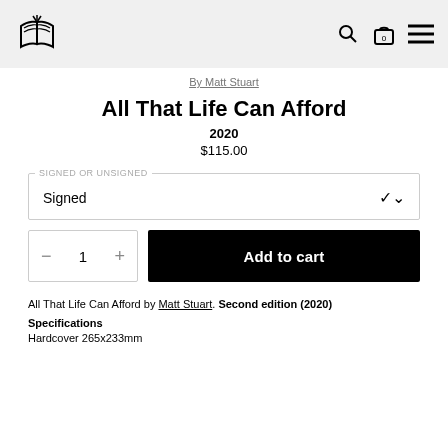Bookshop logo, search, cart, menu
By Matt Stuart
All That Life Can Afford
2020
$115.00
SIGNED OR UNSIGNED — Signed
1  Add to cart
All That Life Can Afford by Matt Stuart. Second edition (2020)
Specifications
Hardcover 265x233mm